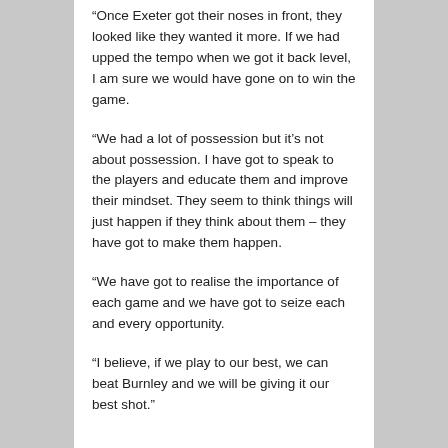“Once Exeter got their noses in front, they looked like they wanted it more. If we had upped the tempo when we got it back level, I am sure we would have gone on to win the game.
“We had a lot of possession but it’s not about possession. I have got to speak to the players and educate them and improve their mindset. They seem to think things will just happen if they think about them – they have got to make them happen.
“We have got to realise the importance of each game and we have got to seize each and every opportunity.
“I believe, if we play to our best, we can beat Burnley and we will be giving it our best shot.”